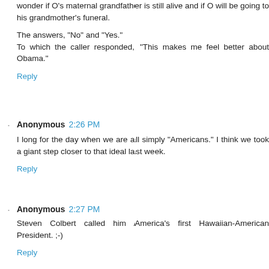wonder if O's maternal grandfather is still alive and if O will be going to his grandmother's funeral.
The answers, "No" and "Yes."
To which the caller responded, "This makes me feel better about Obama."
Reply
Anonymous 2:26 PM
I long for the day when we are all simply "Americans." I think we took a giant step closer to that ideal last week.
Reply
Anonymous 2:27 PM
Steven Colbert called him America's first Hawaiian-American President. ;-)
Reply